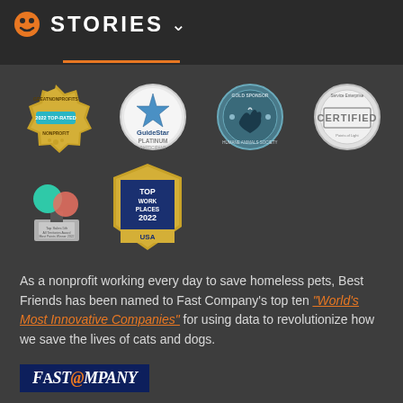STORIES
[Figure (illustration): Row of certification and award badges: GreatNonprofits 2022 Top-Rated Nonprofit, GuideStar Platinum Participant, Gold Sponsor Humane Animals Society, Service Enterprise Certified]
[Figure (illustration): Two more award badges: a physical award trophy and Top Work Places 2022 USA badge]
As a nonprofit working every day to save homeless pets, Best Friends has been named to Fast Company's top ten "World's Most Innovative Companies" for using data to revolutionize how we save the lives of cats and dogs.
[Figure (logo): Fast Company logo on dark blue background]